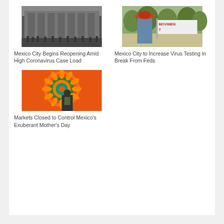[Figure (photo): People standing in front of a large building with columns]
Mexico City Begins Reopening Amid High Coronavirus Case Load
[Figure (photo): Person in hat holding a protest sign reading MOVIMENT]
Mexico City to Increase Virus Testing in Break From Feds
[Figure (photo): Colorful mandala-style decoration with orange and green pattern, person in foreground]
Markets Closed to Control Mexico's Exuberant Mother's Day